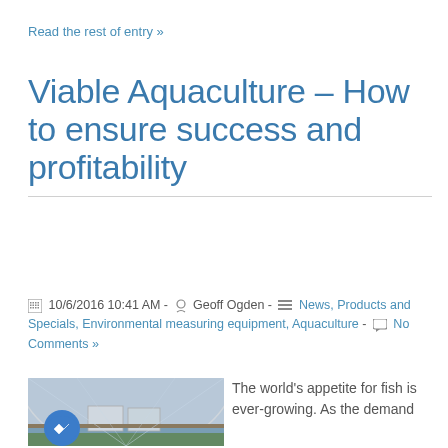Read the rest of entry »
Viable Aquaculture – How to ensure success and profitability
10/6/2016 10:41 AM - Geoff Ogden - News, Products and Specials, Environmental measuring equipment, Aquaculture - No Comments »
[Figure (photo): Indoor aquaculture greenhouse facility with fish tanks and water troughs]
The world's appetite for fish is ever-growing. As the demand